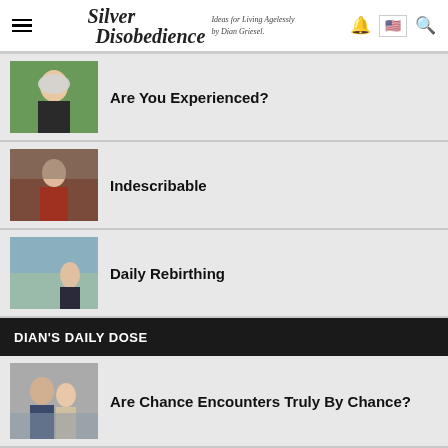Silver Disobedience — Ideas for Living Agelessly by Dian Griesel.
Are You Experienced?
[Figure (photo): Older woman with long silver-white hair smiling outdoors in a park]
Indescribable
[Figure (photo): Older woman in red and black outfit seated against a brick wall]
Daily Rebirthing
[Figure (photo): Woman outdoors taking a selfie or photo near a waterfront railing]
DIAN'S DAILY DOSE
Are Chance Encounters Truly By Chance?
[Figure (photo): Couple standing together outdoors in a city setting]